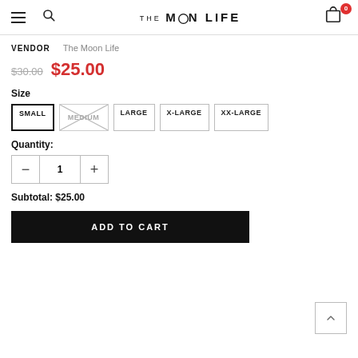THE MOON LIFE
VENDOR  The Moon Life
$30.00  $25.00
Size
SMALL | MEDIUM (unavailable) | LARGE | X-LARGE | XX-LARGE
Quantity:
- 1 +
Subtotal: $25.00
ADD TO CART